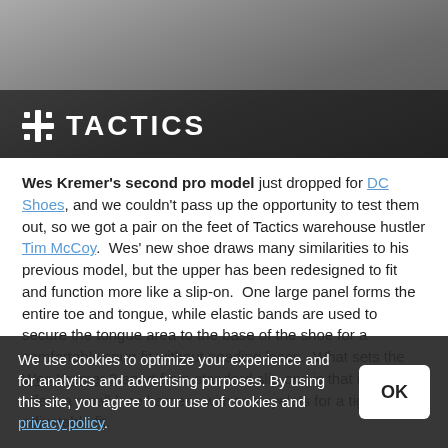[Figure (photo): Hero image of a skate shoe (DC Shoes Wes Kremer 2) with a skateboard in background, overlaid with the Tactics logo and wordmark at the bottom left]
Wes Kremer's second pro model just dropped for DC Shoes, and we couldn't pass up the opportunity to test them out, so we got a pair on the feet of Tactics warehouse hustler Tim McCoy.  Wes' new shoe draws many similarities to his previous model, but the upper has been redesigned to fit and function more like a slip-on.  One large panel forms the entire toe and tongue, while elastic bands are used to secure the tongue area to the base of the shoe for a comfortably snug fit without needing laces.  What sets the Wes Kremer 2 apart from standard slip-ons is that it also offers a small lace harness with two eyelets for a tighter adjustable fit.
The shoe also features a very flexible vulcanized construction with
We use cookies to optimize your experience and for analytics and advertising purposes. By using this site, you agree to our use of cookies and privacy policy.